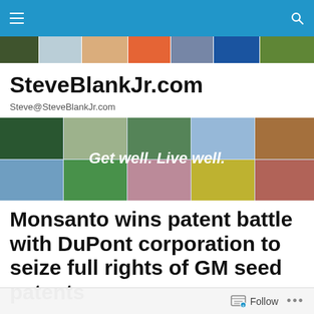Navigation bar with hamburger menu and search icon
[Figure (photo): Top strip of mosaic lifestyle/health photos]
SteveBlankJr.com
Steve@SteveBlankJr.com
[Figure (photo): Wide banner with mosaic of health and wellness photos with text overlay 'Get well. Live well.']
Monsanto wins patent battle with DuPont corporation to seize full rights of GM seed patents
Follow ...